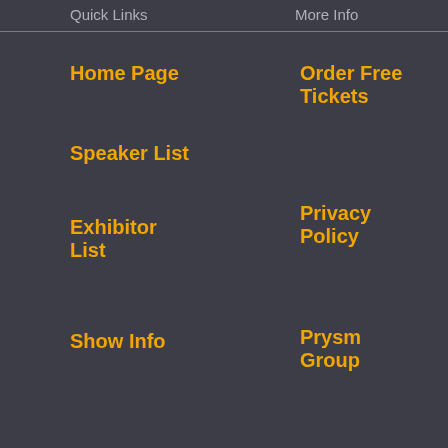Quick Links	More Info
Home Page
Order Free Tickets
Speaker List
Privacy Policy
Exhibitor List
Prysm Group
Show Info
Terms &
This website uses cookies to ensure you get the best experience on our website.
View our privacy policy.
Prysm Group Inc. Registered office at 7660 W. Cheyenne Blvd, Suite 114, Las Vegas, NV 89129.
Got it!
Copyright © 2009-2022 Prysm Retailing Ltd. All rights reserved.